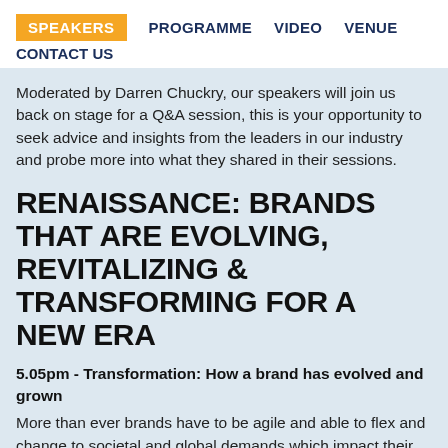SPEAKERS  PROGRAMME  VIDEO  VENUE  CONTACT US
Moderated by Darren Chuckry, our speakers will join us back on stage for a Q&A session, this is your opportunity to seek advice and insights from the leaders in our industry and probe more into what they shared in their sessions.
RENAISSANCE: BRANDS THAT ARE EVOLVING, REVITALIZING & TRANSFORMING FOR A NEW ERA
5.05pm - Transformation: How a brand has evolved and grown
More than ever brands have to be agile and able to flex and change to societal and global demands which impact their business. In this session we will hear from a brand that is embracing a transformation. They will share the